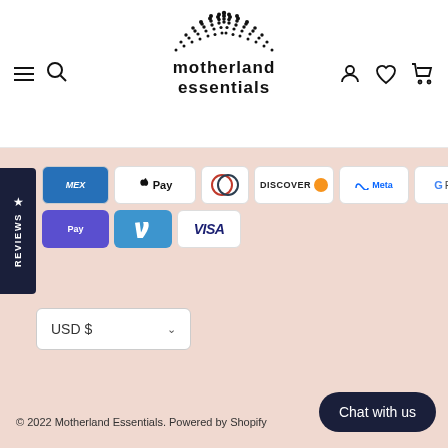Motherland Essentials - navigation header with hamburger menu, search, logo, account, wishlist, and cart icons
[Figure (logo): Motherland Essentials logo with hedgehog-like semicircle dot pattern above stylized text]
★ REVIEWS
[Figure (infographic): Payment method icons: Amex, Apple Pay, Diners Club, Discover, Meta, Google Pay, Mastercard, PayPal, Shop Pay, Venmo, Visa]
USD $
© 2022 Motherland Essentials. Powered by Shopify
Chat with us